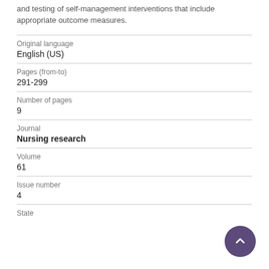and testing of self-management interventions that include appropriate outcome measures.
| Field | Value |
| --- | --- |
| Original language | English (US) |
| Pages (from-to) | 291-299 |
| Number of pages | 9 |
| Journal | Nursing research |
| Volume | 61 |
| Issue number | 4 |
| State |  |